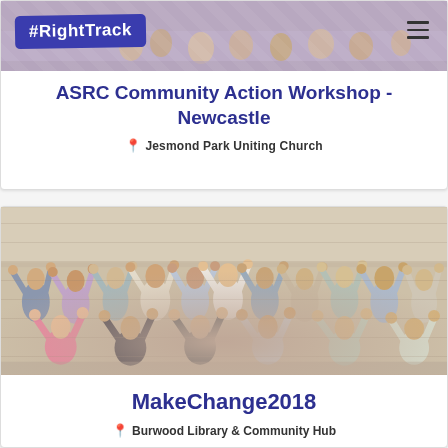#RightTrack
[Figure (photo): Partial crowd/group photo at top, cropped, with #RightTrack logo badge overlay in top-left and hamburger menu icon in top-right]
ASRC Community Action Workshop - Newcastle
Jesmond Park Uniting Church
[Figure (photo): Group photo of approximately 40 people raising their arms/hands in a coordinated gesture, standing and kneeling in rows in what appears to be a community hall]
MakeChange2018
Burwood Library & Community Hub